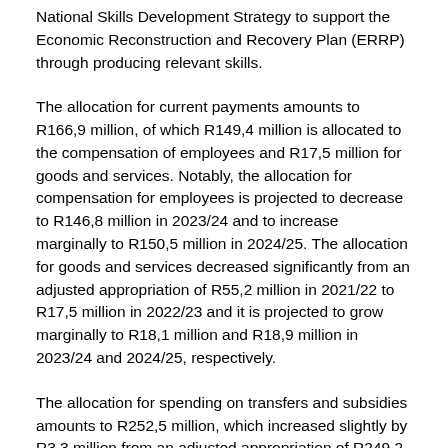National Skills Development Strategy to support the Economic Reconstruction and Recovery Plan (ERRP) through producing relevant skills.
The allocation for current payments amounts to R166,9 million, of which R149,4 million is allocated to the compensation of employees and R17,5 million for goods and services. Notably, the allocation for compensation for employees is projected to decrease to R146,8 million in 2023/24 and to increase marginally to R150,5 million in 2024/25. The allocation for goods and services decreased significantly from an adjusted appropriation of R55,2 million in 2021/22 to R17,5 million in 2022/23 and it is projected to grow marginally to R18,1 million and R18,9 million in 2023/24 and 2024/25, respectively.
The allocation for spending on transfers and subsidies amounts to R252,5 million, which increased slightly by R3,3 million from an adjusted appropriation of R249,2 million. The allocation is projected to increase to R260,2 million in 2023/24 and decrease to R157,0 million in 2024/25. An amount of R28,5 million is